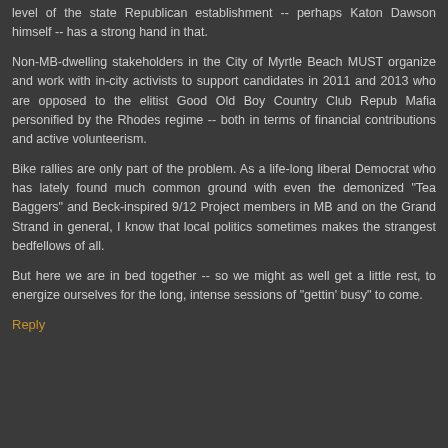level of the state Republican establishment -- perhaps Katon Dawson himself -- has a strong hand in that.
Non-MB-dwelling stakeholders in the City of Myrtle Beach MUST organize and work with in-city activists to support candidates in 2011 and 2013 who are opposed to the elitist Good Old Boy Country Club Repub Mafia personified by the Rhodes regime -- both in terms of financial contributions and active volunteerism.
Bike rallies are only part of the problem. As a life-long liberal Democrat who has lately found much common ground with even the demonized "Tea Baggers" and Beck-inspired 9/12 Project members in MB and on the Grand Strand in general, I know that local politics sometimes makes the strangest bedfellows of all.
But here we are in bed together -- so we might as well get a little rest, to energize ourselves for the long, intense sessions of "gettin' busy" to come.
Reply